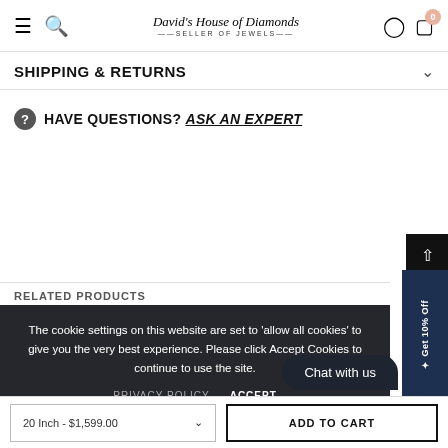David's House of Diamonds — Seller of Jewels
SHIPPING & RETURNS
HAVE QUESTIONS? ASK AN EXPERT
RELATED PRODUCTS
The cookie settings on this website are set to 'allow all cookies' to give you the very best experience. Please click Accept Cookies to continue to use the site.
PRIVACY POLICY  ACCEPT
Chat with us
Get 10% Off
20 Inch - $1,599.00  ADD TO CART